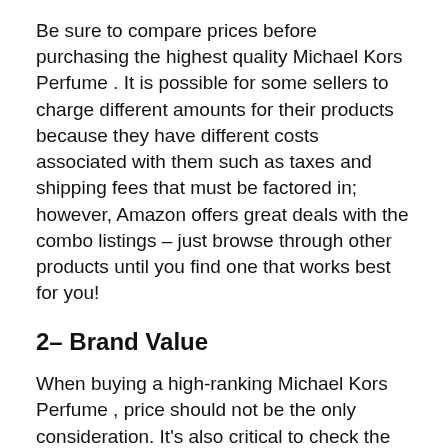Be sure to compare prices before purchasing the highest quality Michael Kors Perfume . It is possible for some sellers to charge different amounts for their products because they have different costs associated with them such as taxes and shipping fees that must be factored in; however, Amazon offers great deals with the combo listings – just browse through other products until you find one that works best for you!
2– Brand Value
When buying a high-ranking Michael Kors Perfume , price should not be the only consideration. It's also critical to check the brand name and see if it's well-established